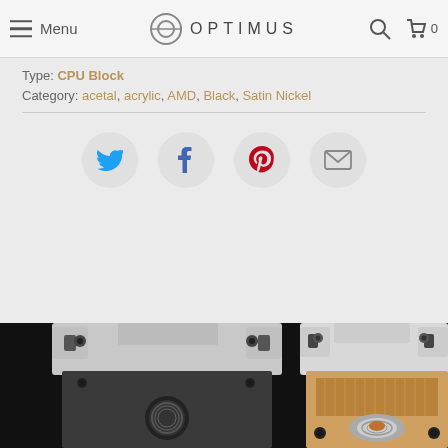Menu | OPTIMUS
Type: CPU Block
Category: acetal, acrylic, AMD, Black, Satin Nickel
[Figure (other): Social sharing buttons: Twitter, Facebook, Pinterest, Email]
[Figure (photo): Two CPU water cooling blocks photographed on black background: left block shows black acetal bottom plate with threaded port, right block shows internal copper microfin structure with satin nickel top plate, both with mounting tabs]